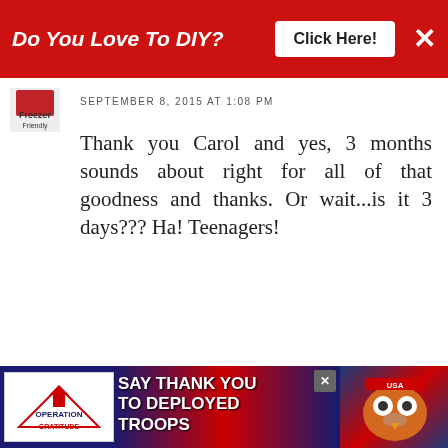[Figure (screenshot): Red advertisement banner at top: 'Do You Love To DIY?' with 'Click Here!' button and X close button]
SEPTEMBER 8, 2015 AT 1:08 PM
Thank you Carol and yes, 3 months sounds about right for all of that goodness and thanks. Or wait...is it 3 days??? Ha! Teenagers!
DELETE
REPLY
Jen Apple and Orchard
SEPTEMBER 3, 2015 AT 4:05 PM
[Figure (screenshot): Bottom advertisement: Operation Gratitude 'Say Thank You to Deployed Troops' banner with patriotic imagery]
[Figure (screenshot): What's Next panel showing 'Replacing Corded...' with thumbnail image]